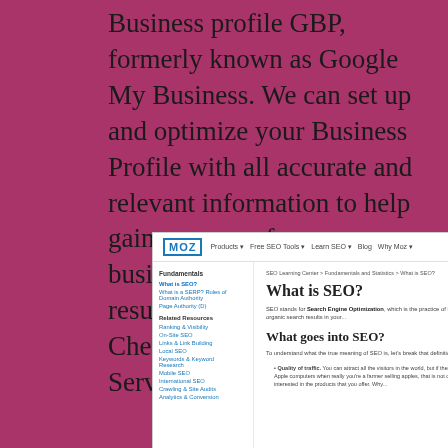Business profile GBP, formerly known as Google My Business. We can set up and optimize your Business Profile with all accurate and relevant information to help gain exposure for your business in the local search results and Google Maps. Check out our Local SEO Services.
[Figure (screenshot): Screenshot of Moz website showing 'What is SEO? Learn Search Optimization Best Practices' page with sidebar navigation and main content area]
What Is SEO? Learn Search Optimization Best Practices - Moz. Moz logo. Menu open. Menu close. Search. Moz logo. View All Webinars. Insights